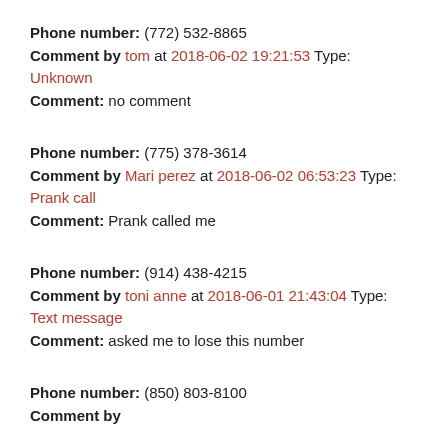Phone number: (772) 532-8865
Comment by tom at 2018-06-02 19:21:53 Type: Unknown
Comment: no comment
Phone number: (775) 378-3614
Comment by Mari perez at 2018-06-02 06:53:23 Type: Prank call
Comment: Prank called me
Phone number: (914) 438-4215
Comment by toni anne at 2018-06-01 21:43:04 Type: Text message
Comment: asked me to lose this number
Phone number: (850) 803-8100
Comment by [cut off] at 2018-06-01 [cut off] Type: [cut off]